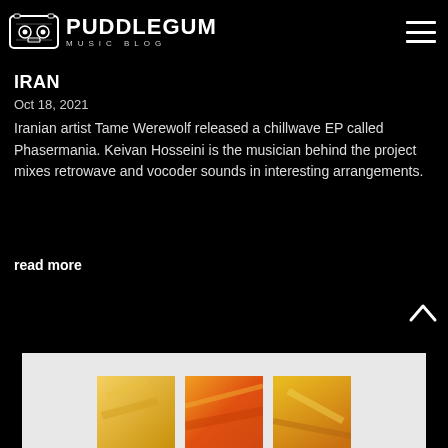PUDDLEGUM MUSIC BLOG
IRAN
Oct 18, 2021
Iranian artist Tame Werewolf released a chillwave EP called Phasermania. Keivan Hosseini is the musician behind the project mixes retrowave and vocoder sounds in interesting arrangements.
read more
[Figure (photo): Bottom section showing partial album artwork cards in yellow/orange tones on a light background strip]